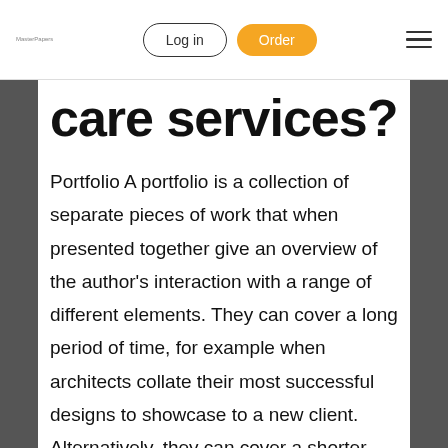Log in | Order
care services?
Portfolio A portfolio is a collection of separate pieces of work that when presented together give an overview of the author's interaction with a range of different elements. They can cover a long period of time, for example when architects collate their most successful designs to showcase to a new client. Alternatively, they can cover a shorter time-span, when someone collates